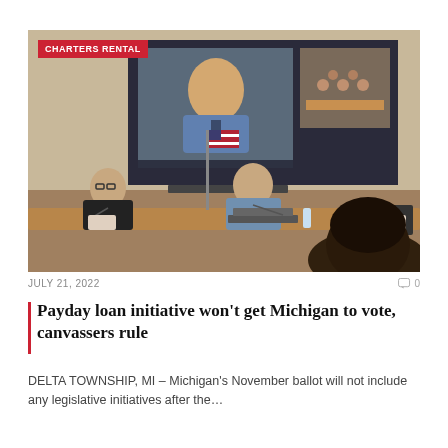[Figure (photo): Meeting room photo showing people seated at a panel desk with laptops and microphones. A projected screen shows a man on a video call. An American flag stands in the background. A woman's head is visible from behind in the foreground. A red badge reads CHARTERS RENTAL in the upper left corner.]
JULY 21, 2022
0
Payday loan initiative won't get Michigan to vote, canvassers rule
DELTA TOWNSHIP, MI – Michigan's November ballot will not include any legislative initiatives after the…